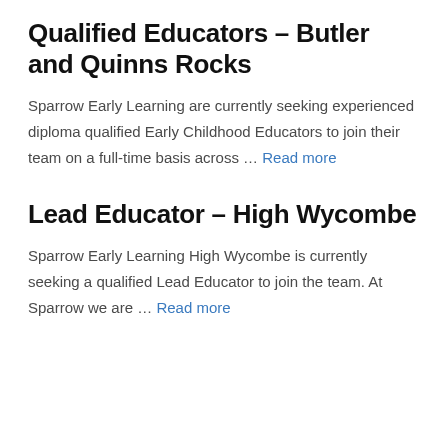Qualified Educators – Butler and Quinns Rocks
Sparrow Early Learning are currently seeking experienced diploma qualified Early Childhood Educators to join their team on a full-time basis across … Read more
Lead Educator – High Wycombe
Sparrow Early Learning High Wycombe is currently seeking a qualified Lead Educator to join the team. At Sparrow we are … Read more